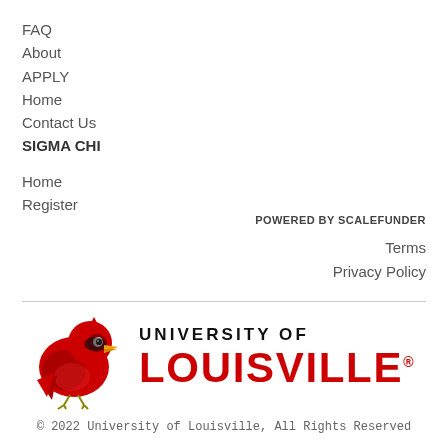FAQ
About
APPLY
Home
Contact Us
SIGMA CHI
Home
Register
POWERED BY SCALEFUNDER
Terms
Privacy Policy
[Figure (logo): University of Louisville logo with red cardinal bird mascot and text UNIVERSITY OF LOUISVILLE]
© 2022 University of Louisville, All Rights Reserved